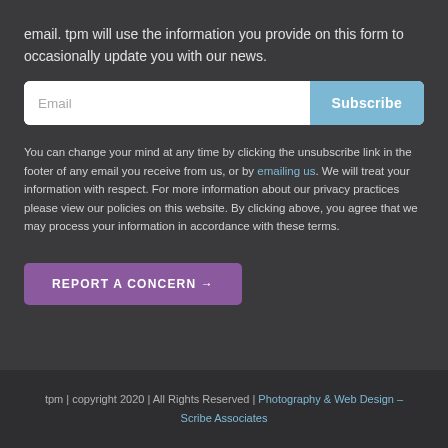email. tpm will use the information you provide on this form to occasionally update you with our news.
[Figure (other): Email input field with Subscribe button]
You can change your mind at any time by clicking the unsubscribe link in the footer of any email you receive from us, or by emailing us. We will treat your information with respect. For more information about our privacy practices please view our policies on this website. By clicking above, you agree that we may process your information in accordance with these terms.
REPORT A CONCERN →
tpm | copyright 2020 | All Rights Reserved | Photography & Web Design – Scribe Associates